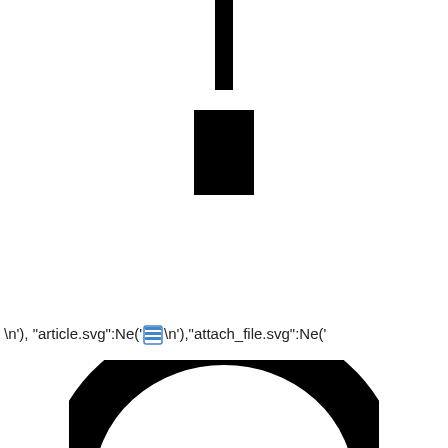[Figure (illustration): A tall vertical bar/attachment icon shape at top center, consisting of a thin vertical bar above a thicker rectangular block, resembling a paperclip or attachment symbol top portion]
\n'), "article.svg":Ne(' [article icon] \n'),"attach_file.svg":Ne('
[Figure (illustration): Large black arch/attachment icon shape at bottom center, resembling an attachment file icon bottom portion with two vertical bars descending from a rounded arch]